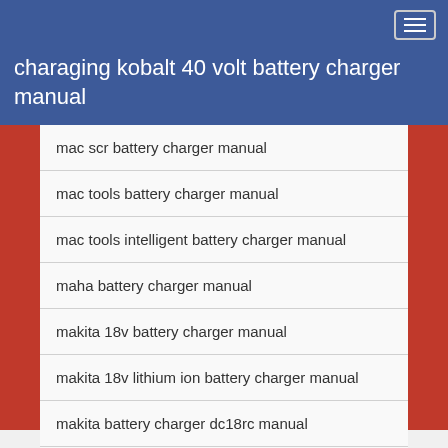charaging kobalt 40 volt battery charger manual
mac scr battery charger manual
mac tools battery charger manual
mac tools intelligent battery charger manual
maha battery charger manual
makita 18v battery charger manual
makita 18v lithium ion battery charger manual
makita battery charger dc18rc manual
makita battery charger manual
makita dc18ra battery charger manual